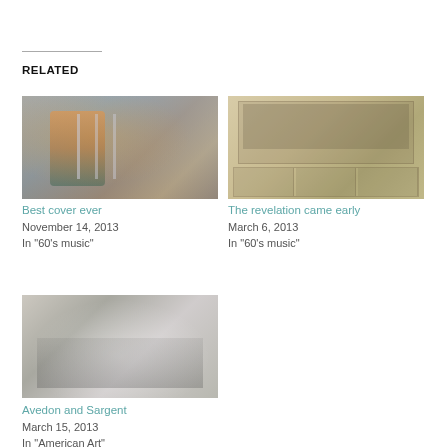RELATED
[Figure (photo): Guitarist performing on stage, vintage concert photo with microphone stands in background]
Best cover ever
November 14, 2013
In "60's music"
[Figure (photo): Group of four people sitting together with some holding umbrellas, appears to be a vintage album cover or promotional photo with smaller photos below]
The revelation came early
March 6, 2013
In "60's music"
[Figure (photo): Black and white or desaturated photo of people dancing or performing, with a figure in white in the foreground]
Avedon and Sargent
March 15, 2013
In "American Art"